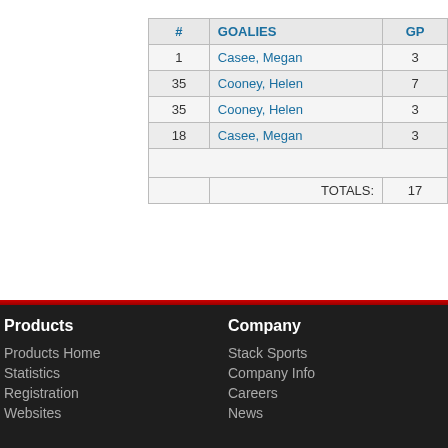| # | GOALIES | GP |
| --- | --- | --- |
| 1 | Casee, Megan | 3 |
| 35 | Cooney, Helen | 7 |
| 35 | Cooney, Helen | 3 |
| 18 | Casee, Megan | 3 |
|  |  |  |
| TOTALS: |  | 17 |
Products | Products Home | Statistics | Registration | Websites | Company | Stack Sports | Company Info | Careers | News